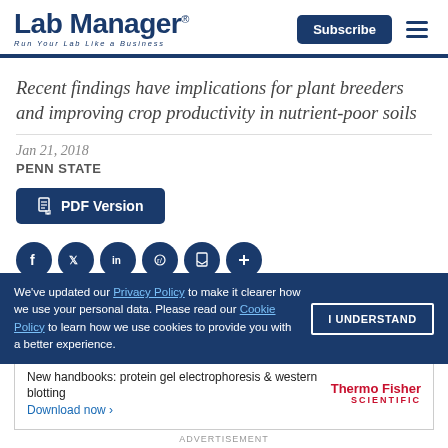Lab Manager® — Run Your Lab Like a Business
Recent findings have implications for plant breeders and improving crop productivity in nutrient-poor soils
Jan 21, 2018
PENN STATE
PDF Version
We've updated our Privacy Policy to make it clearer how we use your personal data. Please read our Cookie Policy to learn how we use cookies to provide you with a better experience. | I UNDERSTAND
New handbooks: protein gel electrophoresis & western blotting Download now › | Thermo Fisher SCIENTIFIC
ADVERTISEMENT